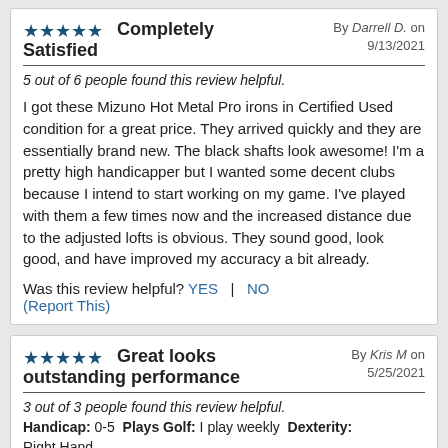★★★★★ Completely Satisfied
By Darrell D. on 9/13/2021
5 out of 6 people found this review helpful.
I got these Mizuno Hot Metal Pro irons in Certified Used condition for a great price. They arrived quickly and they are essentially brand new. The black shafts look awesome! I'm a pretty high handicapper but I wanted some decent clubs because I intend to start working on my game. I've played with them a few times now and the increased distance due to the adjusted lofts is obvious. They sound good, look good, and have improved my accuracy a bit already.
Was this review helpful? YES | NO
(Report This)
★★★★★ Great looks outstanding performance
By Kris M on 5/25/2021
3 out of 3 people found this review helpful.
Handicap: 0-5  Plays Golf: I play weekly  Dexterity: Right Hand